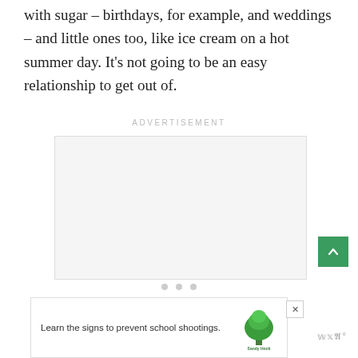with sugar – birthdays, for example, and weddings – and little ones too, like ice cream on a hot summer day. It’s not going to be an easy relationship to get out of.
ADVERTISEMENT
[Figure (other): Advertisement placeholder box (light gray rectangle)]
[Figure (other): Bottom banner advertisement for Sandy Hook Promise: 'Learn the signs to prevent school shootings.' with tree logo]